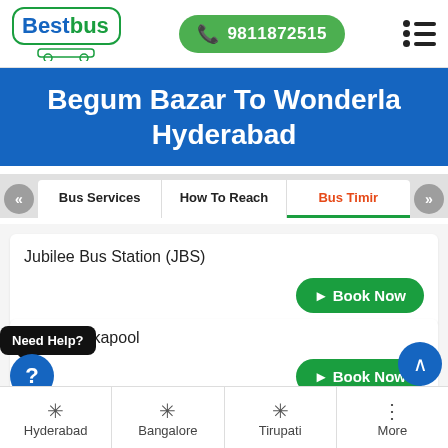[Figure (logo): Bestbus logo with green bus icon and phone number button 9811872515]
Begum Bazar To Wonderla Hyderabad
Bus Services | How To Reach | Bus Timir
Jubilee Bus Station (JBS)
Book Now
Need Help?
kdikapool
Book Now
Hyderabad
Bangalore
Tirupati
More